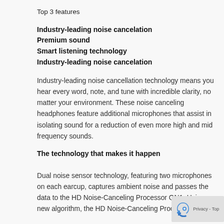Top 3 features
Industry-leading noise cancelation
Premium sound
Smart listening technology
Industry-leading noise cancelation
Industry-leading noise cancellation technology means you hear every word, note, and tune with incredible clarity, no matter your environment. These noise canceling headphones feature additional microphones that assist in isolating sound for a reduction of even more high and mid frequency sounds.
The technology that makes it happen
Dual noise sensor technology, featuring two microphones on each earcup, captures ambient noise and passes the data to the HD Noise-Canceling Processor QN1. Using a new algorithm, the HD Noise-Canceling Processor